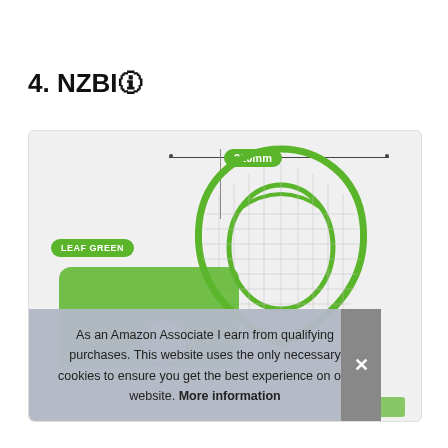4. NZBI
[Figure (photo): Product photo of a leaf-green electric mosquito racket/swatter showing the mesh head from the front with a 220mm dimension indicator, a 'LEAF GREEN' color badge, a close-up of the handle/charging base, and a cookie consent overlay at the bottom.]
As an Amazon Associate I earn from qualifying purchases. This website uses the only necessary cookies to ensure you get the best experience on our website. More information